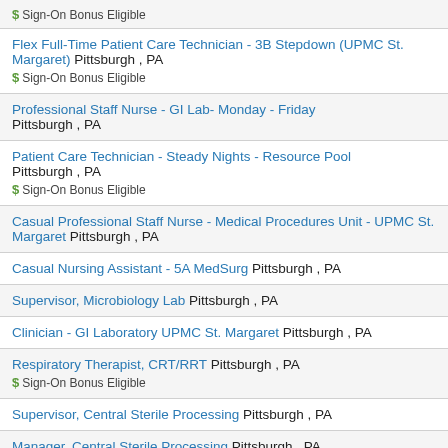$ Sign-On Bonus Eligible
Flex Full-Time Patient Care Technician - 3B Stepdown (UPMC St. Margaret) Pittsburgh , PA $ Sign-On Bonus Eligible
Professional Staff Nurse - GI Lab- Monday - Friday Pittsburgh , PA
Patient Care Technician - Steady Nights - Resource Pool Pittsburgh , PA $ Sign-On Bonus Eligible
Casual Professional Staff Nurse - Medical Procedures Unit - UPMC St. Margaret Pittsburgh , PA
Casual Nursing Assistant - 5A MedSurg Pittsburgh , PA
Supervisor, Microbiology Lab Pittsburgh , PA
Clinician - GI Laboratory UPMC St. Margaret Pittsburgh , PA
Respiratory Therapist, CRT/RRT Pittsburgh , PA $ Sign-On Bonus Eligible
Supervisor, Central Sterile Processing Pittsburgh , PA
Manager, Central Sterile Processing Pittsburgh , PA